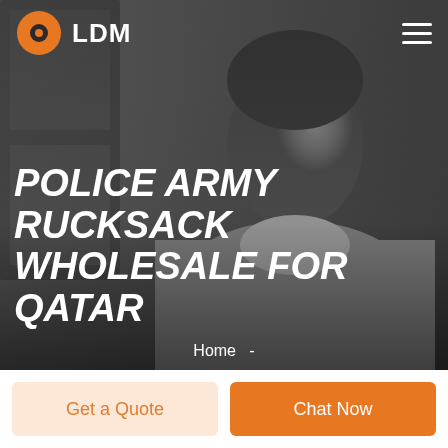[Figure (logo): LDM logo: orange circle with dark inner circle, white text LDM]
POLICE ARMY RUCKSACK WHOLESALE FOR QATAR
Home  -
Get a Quote
Chat Now